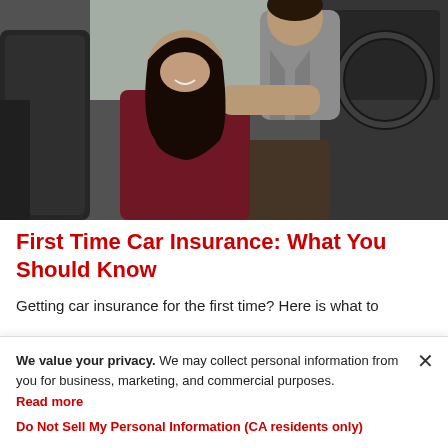[Figure (photo): A woman sitting in the driver's seat of a car, smiling and touching the steering wheel. A man in a grey jacket stands outside the car leaning in, also smiling. The interior shows dark leather seats and a dashboard.]
First Time Car Insurance: What You Should Know
Getting car insurance for the first time? Here is what to
We value your privacy. We may collect personal information from you for business, marketing, and commercial purposes. Read more
Do Not Sell My Personal Information (CA residents only)